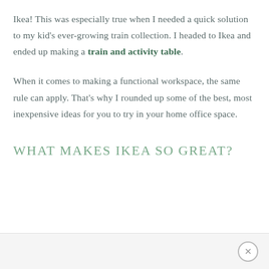Ikea! This was especially true when I needed a quick solution to my kid's ever-growing train collection. I headed to Ikea and ended up making a train and activity table.
When it comes to making a functional workspace, the same rule can apply. That's why I rounded up some of the best, most inexpensive ideas for you to try in your home office space.
WHAT MAKES IKEA SO GREAT?
×